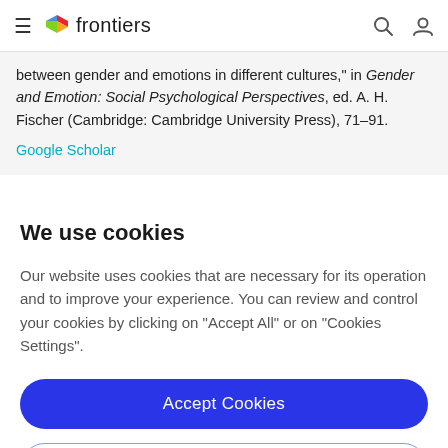frontiers
between gender and emotions in different cultures," in Gender and Emotion: Social Psychological Perspectives, ed. A. H. Fischer (Cambridge: Cambridge University Press), 71–91.
Google Scholar
We use cookies
Our website uses cookies that are necessary for its operation and to improve your experience. You can review and control your cookies by clicking on "Accept All" or on "Cookies Settings".
Accept Cookies
Cookies Settings